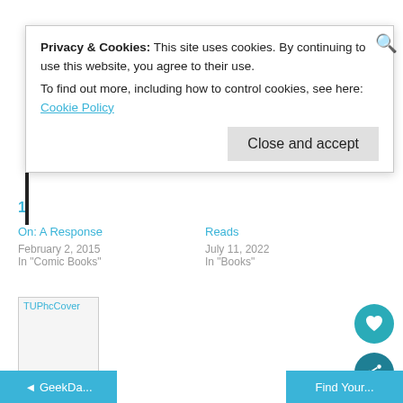Privacy & Cookies: This site uses cookies. By continuing to use this website, you agree to their use.
To find out more, including how to control cookies, see here: Cookie Policy
Close and accept
On: A Response
February 2, 2015
In "Comic Books"
Reads
July 11, 2022
In "Books"
[Figure (photo): TUPhcCover image placeholder]
Kim Harrison's Rachel Morgan Is a Superhero
August 4, 2014
In "Books"
◄ GeekDa...
Find Your...